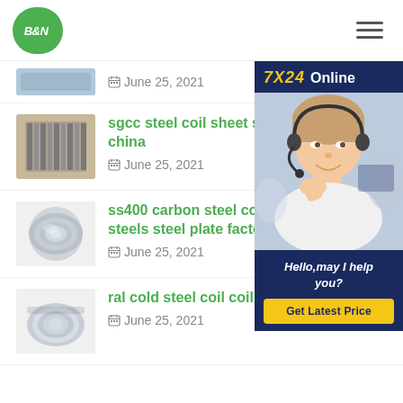B&N
[Figure (photo): Customer service representative with headset, 7X24 Online widget with Hello may I help you text and Get Latest Price button]
June 25, 2021
sgcc steel coil sheet s china | June 25, 2021
ss400 carbon steel co steels steel plate factory | June 25, 2021
ral cold steel coil coil | June 25, 2021